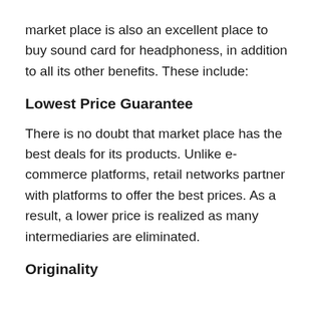market place is also an excellent place to buy sound card for headphoness, in addition to all its other benefits. These include:
Lowest Price Guarantee
There is no doubt that market place has the best deals for its products. Unlike e-commerce platforms, retail networks partner with platforms to offer the best prices. As a result, a lower price is realized as many intermediaries are eliminated.
Originality